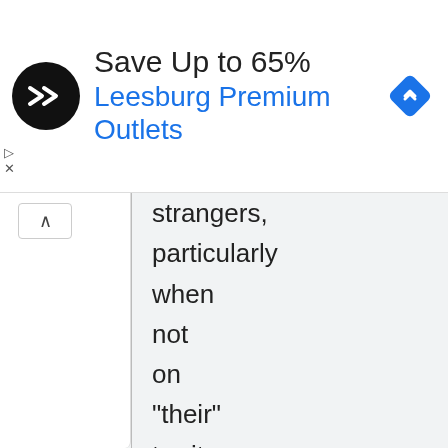[Figure (screenshot): Advertisement banner: circular black logo with double arrow symbol, text 'Save Up to 65%' and 'Leesburg Premium Outlets' in blue, blue diamond navigation icon on right]
strangers, particularly when not on "their" territory, will flee if the stranger